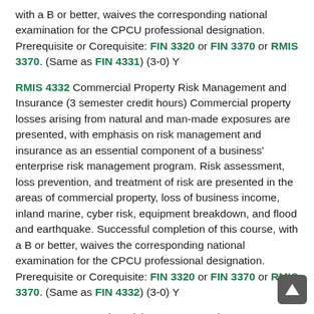with a B or better, waives the corresponding national examination for the CPCU professional designation. Prerequisite or Corequisite: FIN 3320 or FIN 3370 or RMIS 3370. (Same as FIN 4331) (3-0) Y
RMIS 4332 Commercial Property Risk Management and Insurance (3 semester credit hours) Commercial property losses arising from natural and man-made exposures are presented, with emphasis on risk management and insurance as an essential component of a business' enterprise risk management program. Risk assessment, loss prevention, and treatment of risk are presented in the areas of commercial property, loss of business income, inland marine, cyber risk, equipment breakdown, and flood and earthquake. Successful completion of this course, with a B or better, waives the corresponding national examination for the CPCU professional designation. Prerequisite or Corequisite: FIN 3320 or FIN 3370 or RMIS 3370. (Same as FIN 4332) (3-0) Y
RMIS 4333 Enterprise Risk Management (3 semester credit hours) Study of the risks and exposures to loss affecting